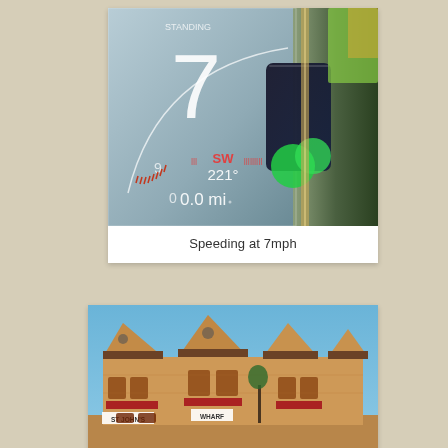[Figure (photo): Close-up photo of a boat/marine GPS speedometer display showing the number 7 prominently, with compass direction SW and 221 degrees, and distance 0.0 mi. A smartphone is visible reflected in the glass.]
Speeding at 7mph
[Figure (photo): Photo of St John's Wharf building, a yellow brick Victorian warehouse with pointed gable roofs against a blue sky. Signs read 'ST JOHN'S' and 'WHARF'.]